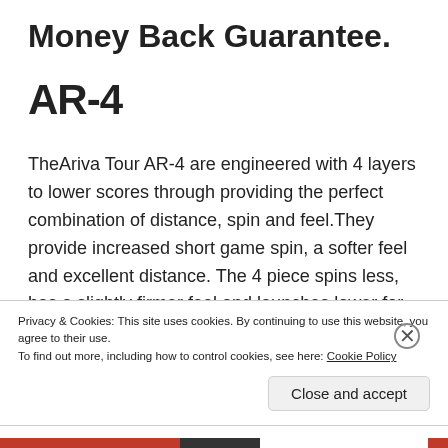Money Back Guarantee.
AR-4
TheAriva Tour AR-4 are engineered with 4 layers to lower scores through providing the perfect combination of distance, spin and feel.They provide increased short game spin, a softer feel and excellent distance. The 4 piece spins less, has a slightly firmer feel and launches lower for longer overall distance.
Privacy & Cookies: This site uses cookies. By continuing to use this website, you agree to their use.
To find out more, including how to control cookies, see here: Cookie Policy
Close and accept